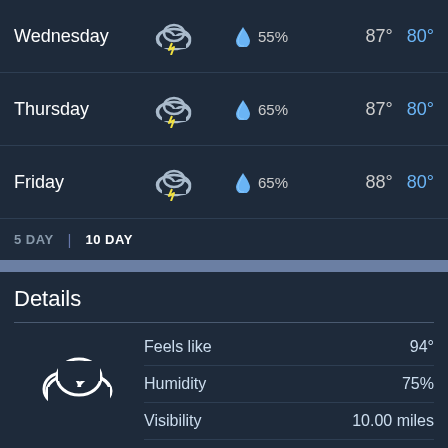| Day | Condition | Precip | High | Low |
| --- | --- | --- | --- | --- |
| Wednesday | Thunderstorms | 55% | 87° | 80° |
| Thursday | Thunderstorms | 65% | 87° | 80° |
| Friday | Thunderstorms | 65% | 88° | 80° |
5 DAY  |  10 DAY
Details
| Metric | Value |
| --- | --- |
| Feels like | 94° |
| Humidity | 75% |
| Visibility | 10.00 miles |
| UV Index | 2 (Low) |
Today - Mostly cloudy with a high of 89 °F (31.7 °C). Winds variable at 7 to 9 mph (11.3 to 14.5 kph).
Tonight - Thunderstorms with a 35% chance of precipitation. Winds variable at 6 to 10 mph (9.7 to 16.1 kph). The overnight low will be 80